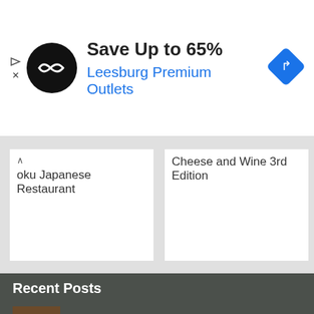[Figure (other): Advertisement banner: black circular logo with double arrow symbol, text 'Save Up to 65%' in bold black, 'Leesburg Premium Outlets' in blue, blue diamond navigation icon on the right. Small play and X controls on left edge.]
oku Japanese Restaurant
Cheese and Wine 3rd Edition
Recent Posts
Cabo Shuttle – LCM 2022
Médano and Mango Deck -LCM 2022